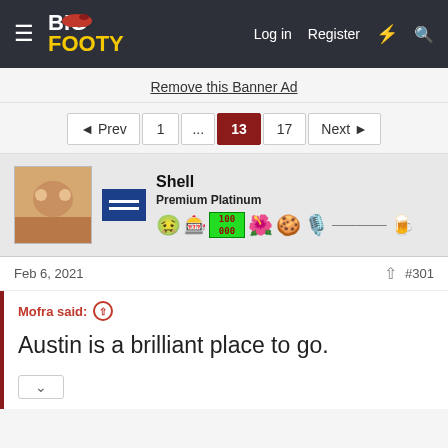BigFooty — Log in  Register
Remove this Banner Ad
◄ Prev  1  ...  13  17  Next ►
Shell
Premium Platinum
Feb 6, 2021  #301
Mofra said:
Austin is a brilliant place to go.